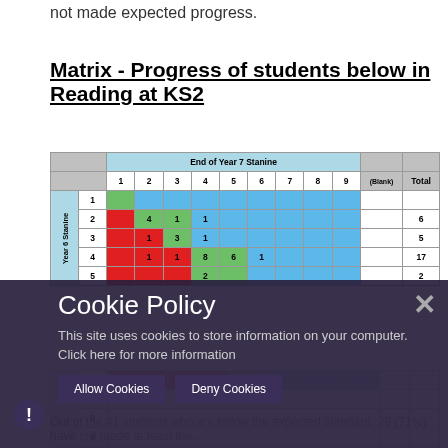not made expected progress.
Matrix - Progress of students below in Reading at KS2
|  |  | End of Year 7 Stanine |  |  |  |  |  |  |  | (Blank) | Total |
| --- | --- | --- | --- | --- | --- | --- | --- | --- | --- | --- | --- |
|  |  | 1 | 2 | 3 | 4 | 5 | 6 | 7 | 8 | 9 | (Blank) | Total |
| Year 6 Stanine | 1 |  |  |  |  |  |  |  |  |  |  |  |
| Year 6 Stanine | 2 |  | 4 | 1 | 1 |  |  |  |  |  |  | 6 |
| Year 6 Stanine | 3 |  | 1 | 3 | 1 |  |  |  |  |  |  | 5 |
| Year 6 Stanine | 4 |  | 1 | 1 | 8 | 6 | 1 |  |  |  |  | 17 |
| Year 6 Stanine | 5 |  |  |  | 2 |  |  |  |  |  |  | 2 |
Cookie Policy
This site uses cookies to store information on your computer. Click here for more information
Out of the 41 students who are below the expected standard, 29 (71%) have still made at least the...